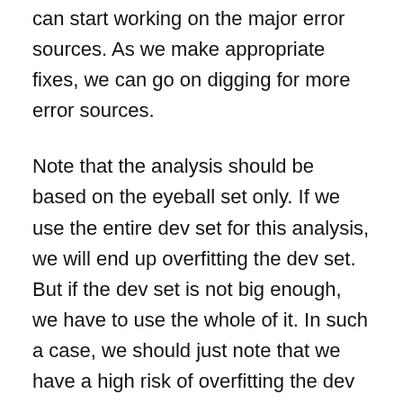can start working on the major error sources. As we make appropriate fixes, we can go on digging for more error sources.
Note that the analysis should be based on the eyeball set only. If we use the entire dev set for this analysis, we will end up overfitting the dev set. But if the dev set is not big enough, we have to use the whole of it. In such a case, we should just note that we have a high risk of overfitting the dev set — and plan the rest accordingly. (Perhaps we can use a rotating dev set — where we pick a new dev set from the training set on every attempt.)